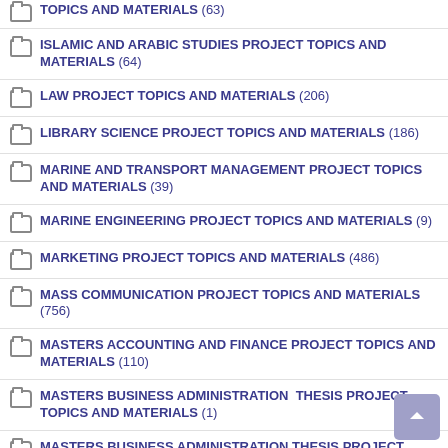TOPICS AND MATERIALS (63)
ISLAMIC AND ARABIC STUDIES PROJECT TOPICS AND MATERIALS (64)
LAW PROJECT TOPICS AND MATERIALS (206)
LIBRARY SCIENCE PROJECT TOPICS AND MATERIALS (186)
MARINE AND TRANSPORT MANAGEMENT PROJECT TOPICS AND MATERIALS (39)
MARINE ENGINEERING PROJECT TOPICS AND MATERIALS (9)
MARKETING PROJECT TOPICS AND MATERIALS (486)
MASS COMMUNICATION PROJECT TOPICS AND MATERIALS (756)
MASTERS ACCOUNTING AND FINANCE PROJECT TOPICS AND MATERIALS (110)
MASTERS BUSINESS ADMINISTRATION  THESIS PROJECT TOPICS AND MATERIALS (1)
MASTERS BUSINESS ADMINISTRATION THESIS PROJECT TOPICS AND MATERIALS (1)
MASTERS DEGREE ENGLISH OR MASTERS TOPICS AND MATERIALS (partial)